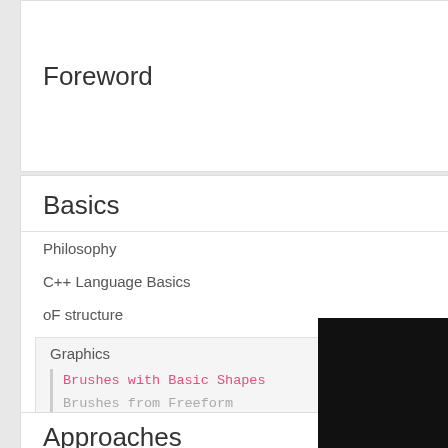Foreword
Basics
Philosophy
C++ Language Basics
oF structure
Graphics
Brushes with Basic Shapes
Brushes from Freeform Shapes
Moving The World
Next Steps
Ooops! = Object Oriented Programming + Classes
How openFrameworks works
Approaches
float distance = 0
// Formula for co
//   x = cos(polar
//   y = sin(polar
// We need our ang
// so we can make
// to radians
float angle = ofRa
float xOffset = co
float yOffset = si
ofDrawRectangle(of
    }
[Figure (other): Black rectangle, partially visible in bottom-right corner]